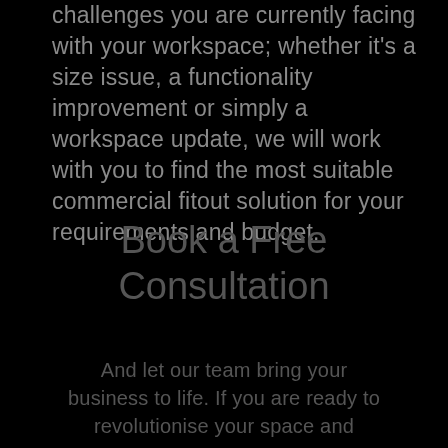challenges you are currently facing with your workspace; whether it's a size issue, a functionality improvement or simply a workspace update, we will work with you to find the most suitable commercial fitout solution for your requirements and budget.
Book a Free Consultation
And let our team bring your business to life. If you are ready to revolutionise your space and